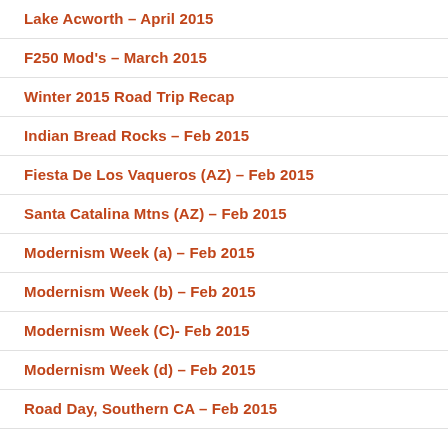Lake Acworth – April 2015
F250 Mod's – March 2015
Winter 2015 Road Trip Recap
Indian Bread Rocks – Feb 2015
Fiesta De Los Vaqueros (AZ) – Feb 2015
Santa Catalina Mtns (AZ) – Feb 2015
Modernism Week (a) – Feb 2015
Modernism Week (b) – Feb 2015
Modernism Week (C)- Feb 2015
Modernism Week (d) – Feb 2015
Road Day, Southern CA – Feb 2015